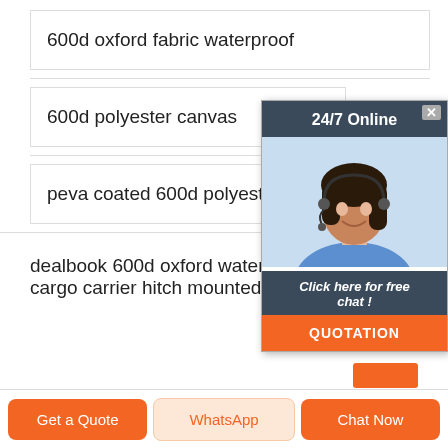600d oxford fabric waterproof
600d polyester canvas
peva coated 600d polyester oxford fabric
[Figure (photo): 24/7 online chat popup with a customer service representative (woman with headset), a 'Click here for free chat!' label, and an orange QUOTATION button]
dealbook 600d oxford waterproof roof car cargo carrier hitch mounted luggage bag
Get a Quote | WhatsApp | Chat Now